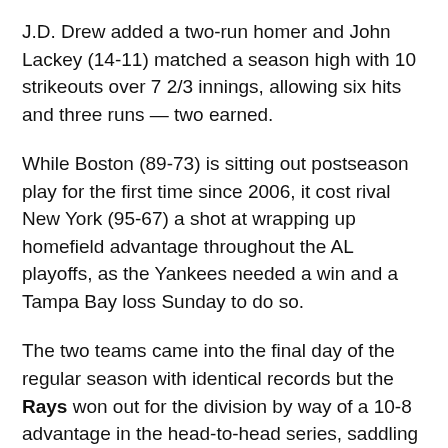J.D. Drew added a two-run homer and John Lackey (14-11) matched a season high with 10 strikeouts over 7 2/3 innings, allowing six hits and three runs — two earned.
While Boston (89-73) is sitting out postseason play for the first time since 2006, it cost rival New York (95-67) a shot at wrapping up homefield advantage throughout the AL playoffs, as the Yankees needed a win and a Tampa Bay loss Sunday to do so.
The two teams came into the final day of the regular season with identical records but the Rays won out for the division by way of a 10-8 advantage in the head-to-head series, saddling the Yanks with wild card status.
The Yankees will be on the road to start the ALDS…